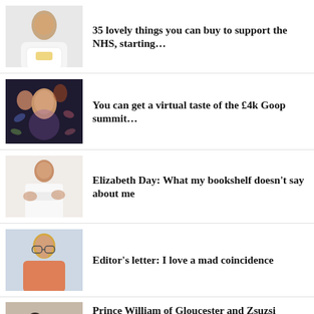35 lovely things you can buy to support the NHS, starting…
You can get a virtual taste of the £4k Goop summit…
Elizabeth Day: What my bookshelf doesn't say about me
Editor's letter: I love a mad coincidence
Prince William of Gloucester and Zsuzsi Starkloff: The tragic royal love…